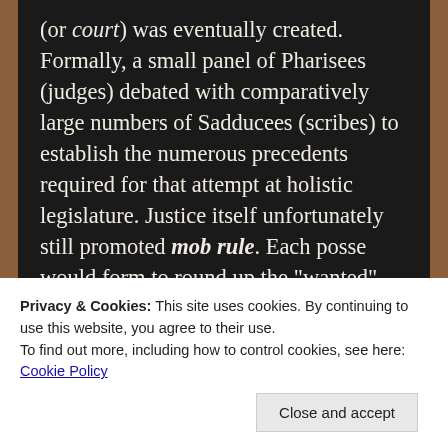(or court) was eventually created. Formally, a small panel of Pharisees (judges) debated with comparatively large numbers of Sadducees (scribes) to establish the numerous precedents required for that attempt at holistic legislature. Justice itself unfortunately still promoted mob rule. Each posse would form to round up the "wanted" something akin to folklore shrouding the "Wild West". Imagination suggests the commonest infractions against law must have been adultery or blasphemy; both almost impossible to argue fairly. Accused would be subject to the reasoning of the local Pharisee, who literally acted as judge, juror and
Privacy & Cookies: This site uses cookies. By continuing to use this website, you agree to their use.
To find out more, including how to control cookies, see here: Cookie Policy
Close and accept